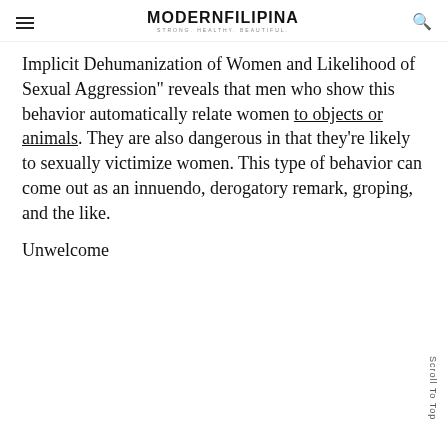MODERNFILIPINA · STRONG. HEALTHY. BEAUTIFUL.
Implicit Dehumanization of Women and Likelihood of Sexual Aggression" reveals that men who show this behavior automatically relate women to objects or animals. They are also dangerous in that they're likely to sexually victimize women. This type of behavior can come out as an innuendo, derogatory remark, groping, and the like.
Unwelcome